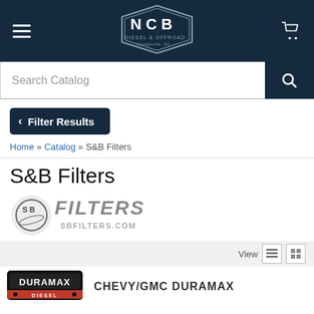[Figure (logo): NCB Diesel & Offroad Youngsville NC logo in dark navy hexagon shape, with hamburger menu icon on left and shopping cart icon on right]
Search Catalog
Filter Results
Home » Catalog » S&B Filters
S&B Filters
[Figure (logo): S&B Filters logo with circular SB emblem and FILTERS text, SBFILTERS.COM below]
View
[Figure (logo): Duramax Diesel badge/logo in red and black]
CHEVY/GMC DURAMAX